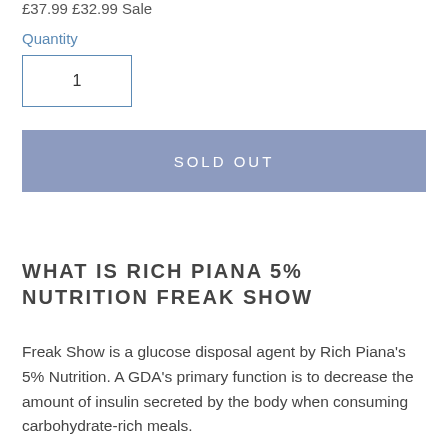£37.99 £32.99 Sale
Quantity
1
SOLD OUT
WHAT IS RICH PIANA 5% NUTRITION FREAK SHOW
Freak Show is a glucose disposal agent by Rich Piana's 5% Nutrition. A GDA's primary function is to decrease the amount of insulin secreted by the body when consuming carbohydrate-rich meals.